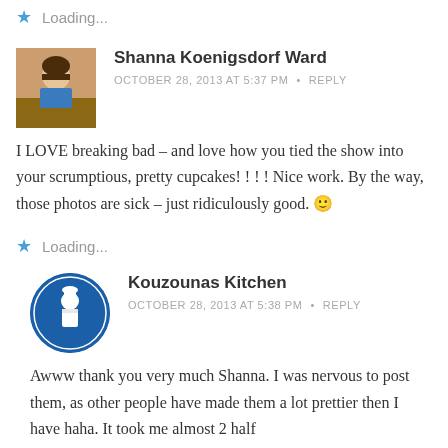Loading...
Shanna Koenigsdorf Ward
OCTOBER 28, 2013 AT 5:37 PM  •  REPLY
I LOVE breaking bad – and love how you tied the show into your scrumptious, pretty cupcakes! ! ! ! Nice work. By the way, those photos are sick – just ridiculously good. 🙂
Loading...
Kouzounas Kitchen
OCTOBER 28, 2013 AT 5:38 PM  •  REPLY
Awww thank you very much Shanna. I was nervous to post them, as other people have made them a lot prettier then I have haha. It took me almost 2 half